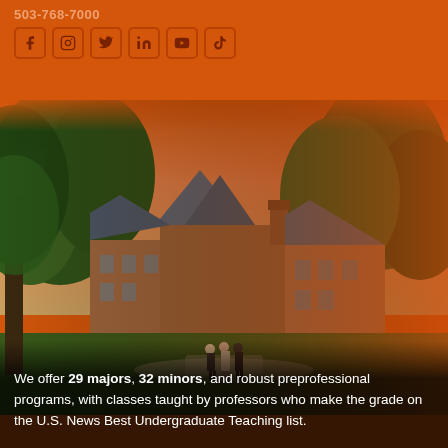503-768-7000
[Figure (screenshot): Social media icons: Facebook, Instagram, Twitter/X, LinkedIn, YouTube, TikTok — white/dark icons in rounded square boxes on orange background]
[Figure (photo): University campus scene showing a large brick building with a steep slate roof and pointed turrets, surrounded by large mature trees with green foliage. Three people are walking on a path in front of the building. The sky above has an orange warm tint blending into the orange header.]
We offer 29 majors, 32 minors, and robust preprofessional programs, with classes taught by professors who make the grade on the U.S. News Best Undergraduate Teaching list.